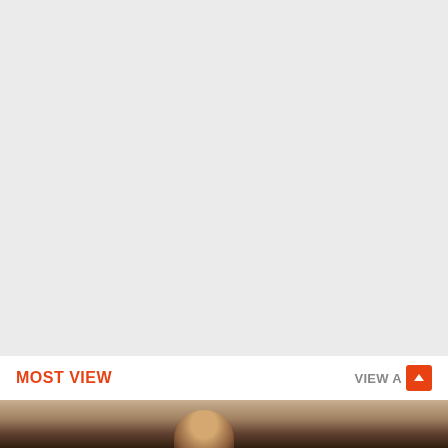MOST VIEW
VIEW A
[Figure (photo): Partial view of a person's face/head visible at the very bottom of the page, cropped screenshot from a website or app interface.]